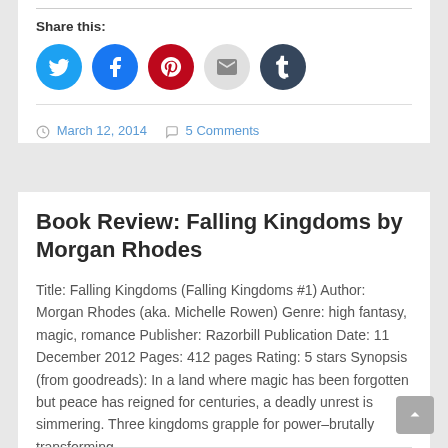Share this:
[Figure (infographic): Row of five social share icon circles: Twitter (blue), Facebook (blue), Pinterest (red), Email (gray), Tumblr (dark blue)]
March 12, 2014   5 Comments
Book Review: Falling Kingdoms by Morgan Rhodes
Title: Falling Kingdoms (Falling Kingdoms #1) Author: Morgan Rhodes (aka. Michelle Rowen) Genre: high fantasy, magic, romance Publisher: Razorbill Publication Date: 11 December 2012 Pages: 412 pages Rating: 5 stars Synopsis (from goodreads): In a land where magic has been forgotten but peace has reigned for centuries, a deadly unrest is simmering. Three kingdoms grapple for power–brutally transforming …
More →